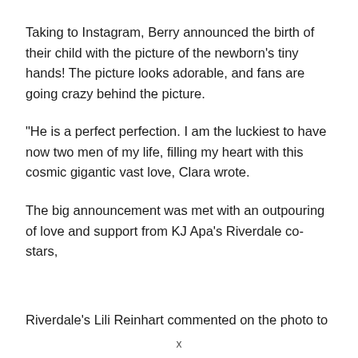Taking to Instagram, Berry announced the birth of their child with the picture of the newborn’s tiny hands! The picture looks adorable, and fans are going crazy behind the picture.
“He is a perfect perfection. I am the luckiest to have now two men of my life, filling my heart with this cosmic gigantic vast love, Clara wrote.
The big announcement was met with an outpouring of love and support from KJ Apa’s Riverdale co-stars,
Riverdale’s Lili Reinhart commented on the photo to
x